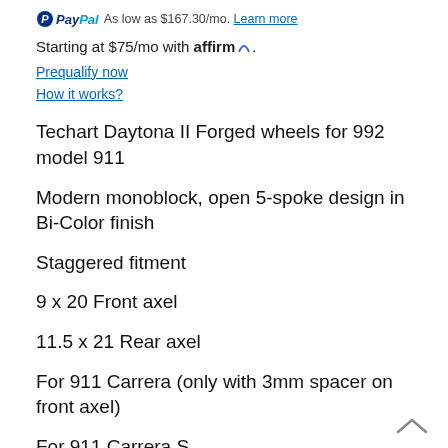PayPal As low as $167.30/mo. Learn more
Starting at $75/mo with affirm. Prequalify now How it works?
Techart Daytona II Forged wheels for 992 model 911
Modern monoblock, open 5-spoke design in Bi-Color finish
Staggered fitment
9 x 20 Front axel
11.5 x 21 Rear axel
For 911 Carrera (only with 3mm spacer on front axel)
For 911 Carrera S
For 911 Carrera 4